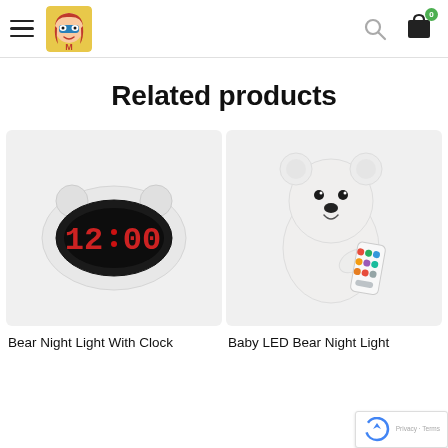Navigation header with hamburger menu, superhero logo, search icon, and cart icon
Related products
[Figure (photo): White bear-shaped alarm clock night light with red LED display showing 12:00, on light gray background]
Bear Night Light With Clock
[Figure (photo): White polar bear silicone night light holding a colorful remote control, on light gray background]
Baby LED Bear Night Light